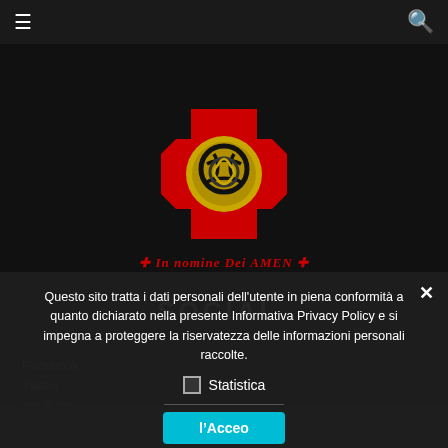☰  🔍
[Figure (logo): Templar cross logo with red Maltese cross and gold medallion center, with text 'In nomine Dei AMEN' flanked by small red crosses]
SOCIAL
Facebook
Twitter
YouTube
Questo sito tratta i dati personali dell'utente in piena conformità a quanto dichiarato nella presente Informativa Privacy Policy e si impegna a proteggere la riservatezza delle informazioni personali raccolte.
☐ Statistica
› Privacy Preferences
l'Acceo